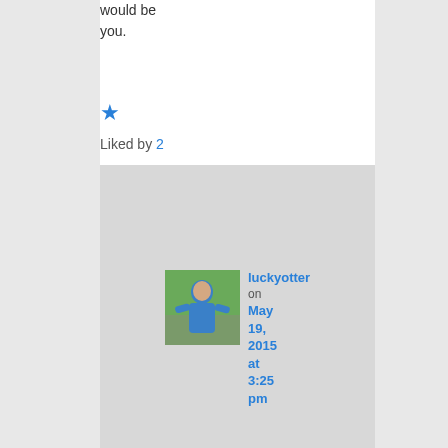would be you.
★ Liked by 2
luckyotter on May 19, 2015 at 3:25 pm said:
It might be a go